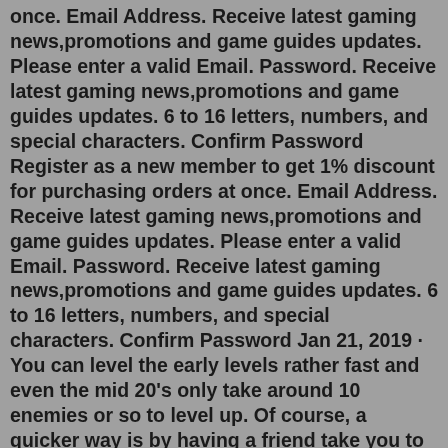once. Email Address. Receive latest gaming news,promotions and game guides updates. Please enter a valid Email. Password. Receive latest gaming news,promotions and game guides updates. 6 to 16 letters, numbers, and special characters. Confirm Password Register as a new member to get 1% discount for purchasing orders at once. Email Address. Receive latest gaming news,promotions and game guides updates. Please enter a valid Email. Password. Receive latest gaming news,promotions and game guides updates. 6 to 16 letters, numbers, and special characters. Confirm Password Jan 21, 2019 · You can level the early levels rather fast and even the mid 20's only take around 10 enemies or so to level up. Of course, a quicker way is by having a friend take you to level 49 enemies in the world and helping you kill them. This can raise your level quickly. Lastly, you can form a pre-formed party and do dungeons that way. Jun 26, 2017 · You obtain this by recruiting a friend, or being recruited, and them subbing for 30 days. Brand-new Ring – Ring